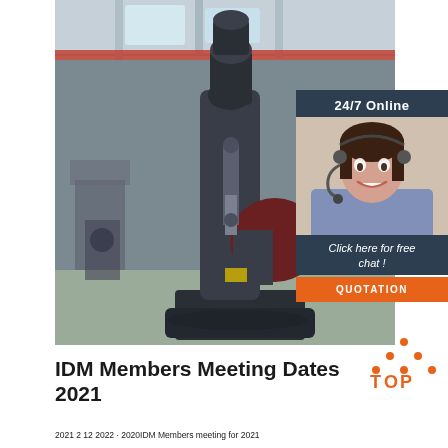[Figure (photo): Industrial power hammer / forging press machine in a warehouse/factory setting. Large dark metal machine on a base plate with overhead crane visible in background.]
24/7 Online
[Figure (photo): Customer service woman smiling with headset, representing 24/7 online support.]
Click here for free chat !
QUOTATION
[Figure (logo): TOP logo with orange triangle/dots and 'TOP' text in orange with 'O' stylized.]
IDM Members Meeting Dates 2021
2021 2 12 2022 2020IDM Members meeting for 2021